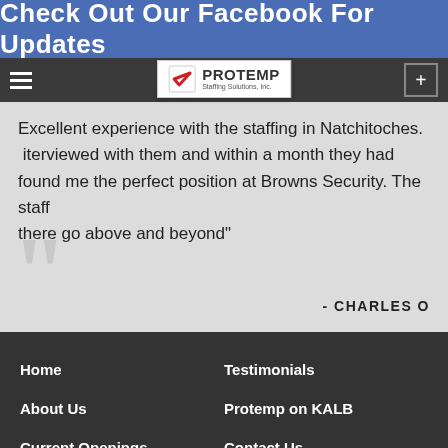Check Out Our Facebook For Updates
[Figure (logo): PROTEMP Staffing Solutions, Inc. logo with red checkmark]
Excellent experience with the staffing in Natchitoches. interviewed with them and within a month they had found me the perfect position at Browns Security. The staff there go above and beyond"
- CHARLES O
Home
Testimonials
About Us
Protemp on KALB
Current Openings
Contact Us